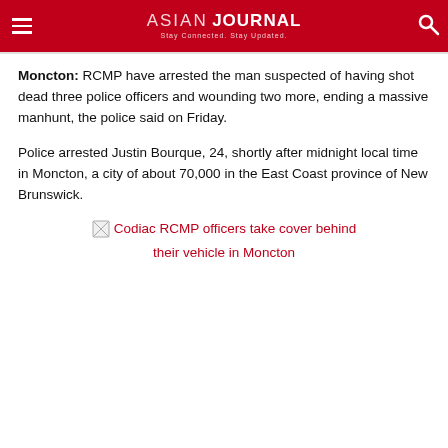ASIAN JOURNAL — Stay Connected. Stay Updated.
Moncton: RCMP have arrested the man suspected of having shot dead three police officers and wounding two more, ending a massive manhunt, the police said on Friday.
Police arrested Justin Bourque, 24, shortly after midnight local time in Moncton, a city of about 70,000 in the East Coast province of New Brunswick.
[Figure (photo): Broken image placeholder with caption: Codiac RCMP officers take cover behind their vehicle in Moncton]
Codiac RCMP officers take cover behind their vehicle in Moncton